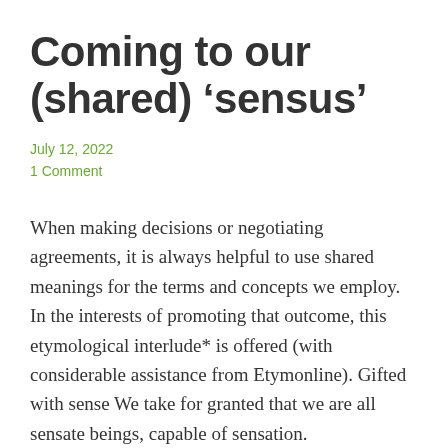Coming to our (shared) ‘sensus’
July 12, 2022
1 Comment
When making decisions or negotiating agreements, it is always helpful to use shared meanings for the terms and concepts we employ. In the interests of promoting that outcome, this etymological interlude* is offered (with considerable assistance from Etymonline). Gifted with sense We take for granted that we are all sensate beings, capable of sensation. Etymonline… Continue reading